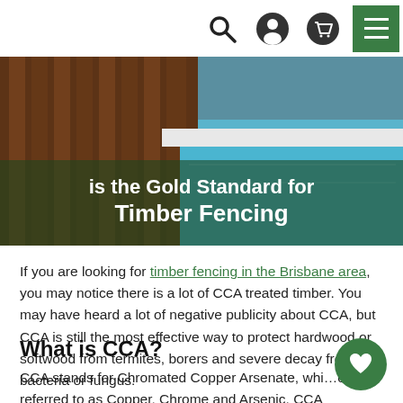Navigation bar with search, profile, cart, and menu icons
[Figure (photo): Hero image showing timber decking beside a swimming pool, with overlaid title text: 'is the Gold Standard for Timber Fencing']
If you are looking for timber fencing in the Brisbane area, you may notice there is a lot of CCA treated timber. You may have heard a lot of negative publicity about CCA, but CCA is still the most effective way to protect hardwood or softwood from termites, borers and severe decay from bacteria or fungus.
What is CCA?
CCA stands for Chromated Copper Arsenate, which is also referred to as Copper, Chrome and Arsenic. CCA was originally formulated to protect timber from insects, wood